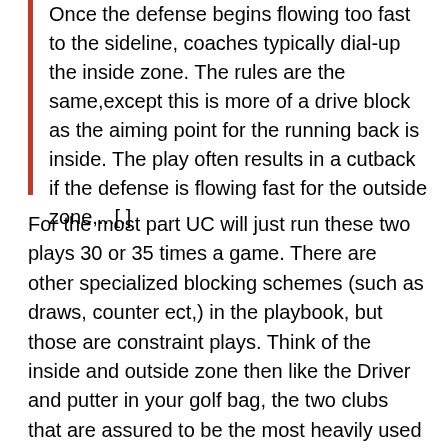Once the defense begins flowing too fast to the sideline, coaches typically dial-up the inside zone. The rules are the same,except this is more of a drive block as the aiming point for the running back is inside. The play often results in a cutback if the defense is flowing fast for the outside zone,...[.]
For the most part UC will just run these two plays 30 or 35 times a game. There are other specialized blocking schemes (such as draws, counter ect,) in the playbook, but those are constraint plays. Think of the inside and outside zone then like the Driver and putter in your golf bag, the two clubs that are assured to be the most heavily used during any round of golf.* While the basic scheme remains the same there is an important wrinkle that UC has adopted this year in how they run the inside zone. What follows is a step by step